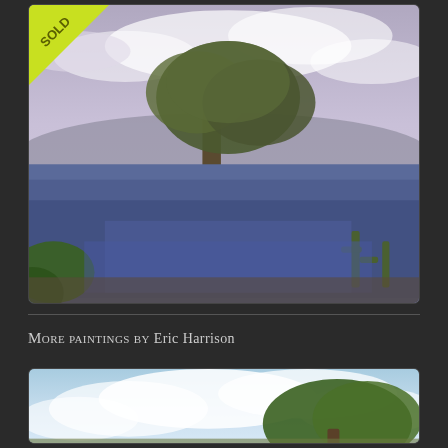[Figure (photo): Oil painting of Texas bluebonnet field with large oak tree, sold stamp in upper left corner]
More paintings by Eric Harrison
[Figure (photo): Partial view of another oil painting showing clouds and a tree, by Eric Harrison]